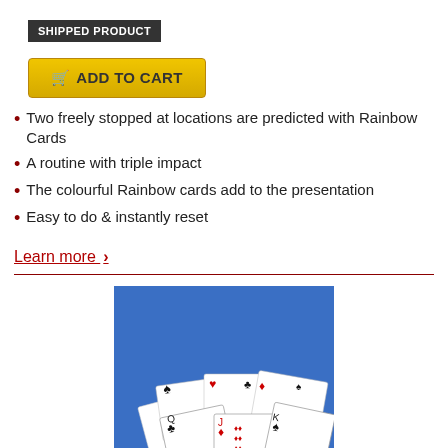SHIPPED PRODUCT
ADD TO CART
Two freely stopped at locations are predicted with Rainbow Cards
A routine with triple impact
The colourful Rainbow cards add to the presentation
Easy to do & instantly reset
Learn more >
[Figure (photo): A deck of playing cards arranged in a flat, open box formation on a blue fabric background, showing multiple card faces including clubs, hearts, diamonds.]